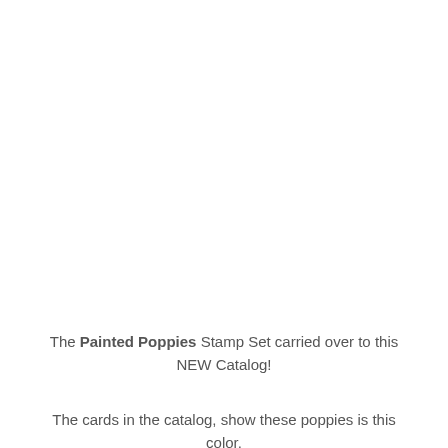The Painted Poppies Stamp Set carried over to this NEW Catalog!
The cards in the catalog, show these poppies is this color,